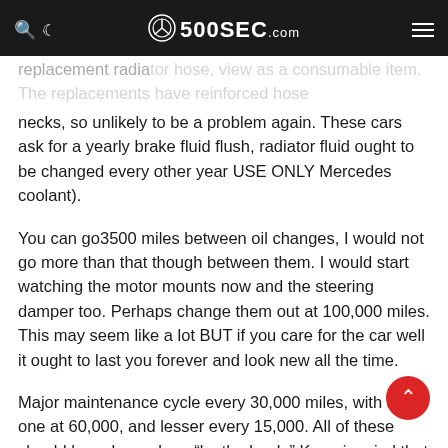500SEC.com
replacement radiator hose, view as a consumable item. The replacements have reinforced hose necks, so unlikely to be a problem again. These cars ask for a yearly brake fluid flush, radiator fluid ought to be changed every other year USE ONLY Mercedes coolant).
You can go3500 miles between oil changes, I would not go more than that though between them. I would start watching the motor mounts now and the steering damper too. Perhaps change them out at 100,000 miles. This may seem like a lot BUT if you care for the car well it ought to last you forever and look new all the time.
Major maintenance cycle every 30,000 miles, with a big one at 60,000, and lesser every 15,000. All of these should have been done “by the book.” Keep in mind that you are maintaining a car that cost something like K new. You can buy